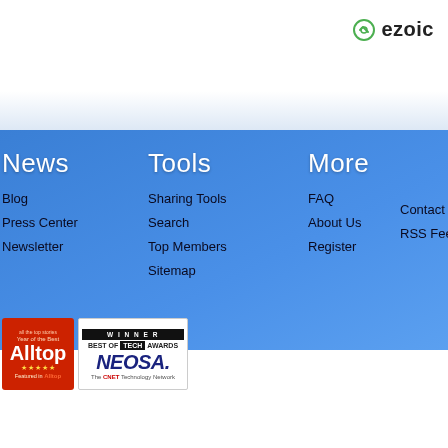[Figure (logo): Ezoic logo with green circle icon and bold text 'ezoic']
News
Blog
Press Center
Newsletter
Tools
Sharing Tools
Search
Top Members
Sitemap
More
FAQ
About Us
Register
Contact Us
RSS Feed
[Figure (logo): Alltop red badge - Featured in Alltop]
[Figure (logo): NEOSA Winner Best of Tech Awards badge]